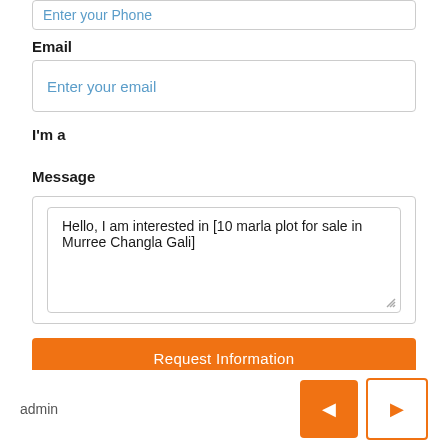Enter your Phone
Email
Enter your email
I'm a
Message
Hello, I am interested in [10 marla plot for sale in Murree Changla Gali]
Request Information
admin